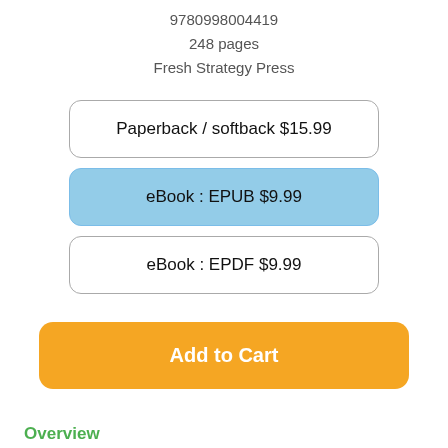9780998004419
248 pages
Fresh Strategy Press
Paperback / softback $15.99
eBook : EPUB $9.99
eBook : EPDF $9.99
Add to Cart
Overview